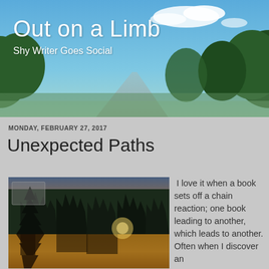Out on a Limb
Shy Writer Goes Social
MONDAY, FEBRUARY 27, 2017
Unexpected Paths
[Figure (photo): Sunset landscape with silhouetted pine trees reflected in a calm lake, warm orange and golden sky]
I love it when a book sets off a chain reaction; one book leading to another, which leads to another. Often when I discover an